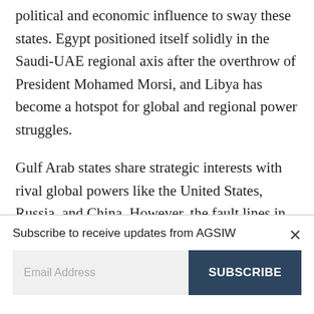political and economic influence to sway these states. Egypt positioned itself solidly in the Saudi-UAE regional axis after the overthrow of President Mohamed Morsi, and Libya has become a hotspot for global and regional power struggles.
Gulf Arab states share strategic interests with rival global powers like the United States, Russia, and China. However, the fault lines in
Subscribe to receive updates from AGSIW
Email Address
SUBSCRIBE